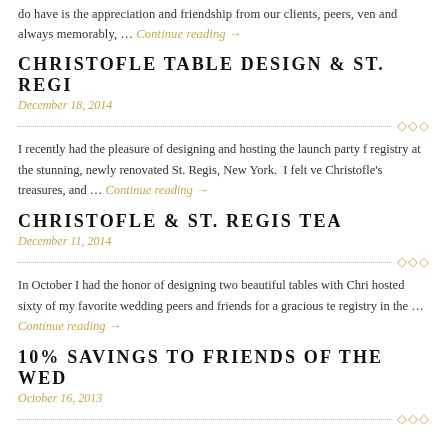do have is the appreciation and friendship from our clients, peers, ven and always memorably, … Continue reading →
CHRISTOFLE TABLE DESIGN & ST. REGI
December 18, 2014
I recently had the pleasure of designing and hosting the launch party f registry at the stunning, newly renovated St. Regis, New York. I felt ve Christofle's treasures, and … Continue reading →
CHRISTOFLE & ST. REGIS TEA
December 11, 2014
In October I had the honor of designing two beautiful tables with Chri hosted sixty of my favorite wedding peers and friends for a gracious te registry in the … Continue reading →
10% SAVINGS TO FRIENDS OF THE WED
October 16, 2013